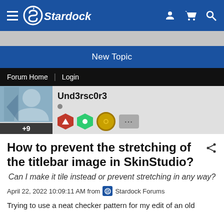Stardock
New Topic
Forum Home | Login
Und3rsc0r3  +9
How to prevent the stretching of the titlebar image in SkinStudio?
Can I make it tile instead or prevent stretching in any way?
April 22, 2022 10:09:11 AM from Stardock Forums
Trying to use a neat checker pattern for my edit of an old